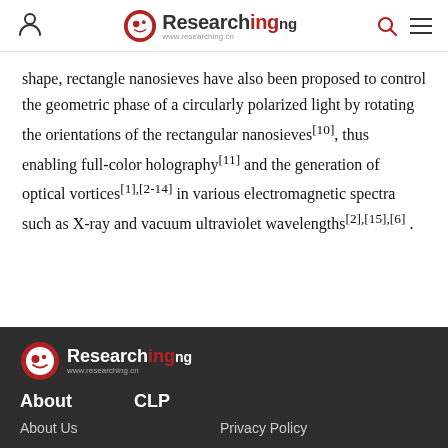Researching.ng — navigation header with user icon, logo, search icon, menu icon
shape, rectangle nanosieves have also been proposed to control the geometric phase of a circularly polarized light by rotating the orientations of the rectangular nanosieves [10], thus enabling full-color holography[11] and the generation of optical vortices [1],[2-14] in various electromagnetic spectra such as X-ray and vacuum ultraviolet wavelengths [2],[15],[6] .
Researching.ng footer — About | CLP — About Us | Privacy Policy